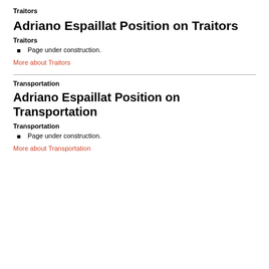Traitors
Adriano Espaillat Position on Traitors
Traitors
Page under construction.
More about Traitors
Transportation
Adriano Espaillat Position on Transportation
Transportation
Page under construction.
More about Transportation